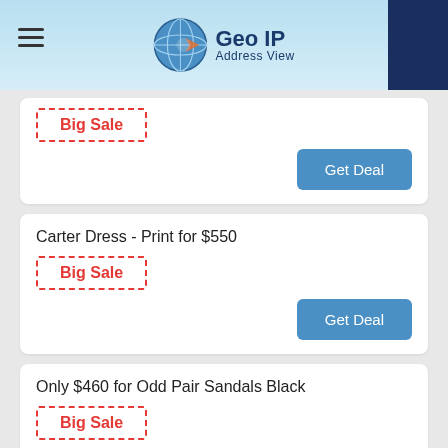Geo IP Address View
Big Sale
Get Deal
Carter Dress - Print for $550
Big Sale
Get Deal
Only $460 for Odd Pair Sandals Black
Big Sale
Get Deal
Never Miss: Valentina Veil - Ivory for $699